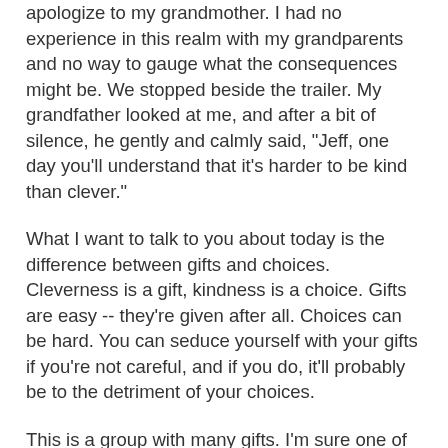apologize to my grandmother. I had no experience in this realm with my grandparents and no way to gauge what the consequences might be. We stopped beside the trailer. My grandfather looked at me, and after a bit of silence, he gently and calmly said, "Jeff, one day you'll understand that it's harder to be kind than clever."
What I want to talk to you about today is the difference between gifts and choices. Cleverness is a gift, kindness is a choice. Gifts are easy -- they're given after all. Choices can be hard. You can seduce yourself with your gifts if you're not careful, and if you do, it'll probably be to the detriment of your choices.
This is a group with many gifts. I'm sure one of your gifts is the gift of a smart and capable brain. I'm confident that's the case because admission is competitive and if there weren't some signs that you're clever, the dean of admission wouldn't have let you in.
Your smarts will come in handy because you will travel in a land of marvels. We humans -- plodding as we are -- will astonish ourselves. We'll invent ways to generate clean energy and a lot of it. Atom by atom, we'll assemble tiny machines that will enter cell walls and make repairs. This